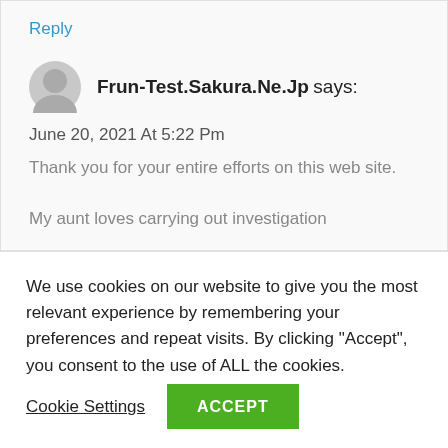Reply
Frun-Test.Sakura.Ne.Jp says:
June 20, 2021 At 5:22 Pm
Thank you for your entire efforts on this web site.
My aunt loves carrying out investigation
We use cookies on our website to give you the most relevant experience by remembering your preferences and repeat visits. By clicking "Accept", you consent to the use of ALL the cookies.
Cookie Settings
ACCEPT